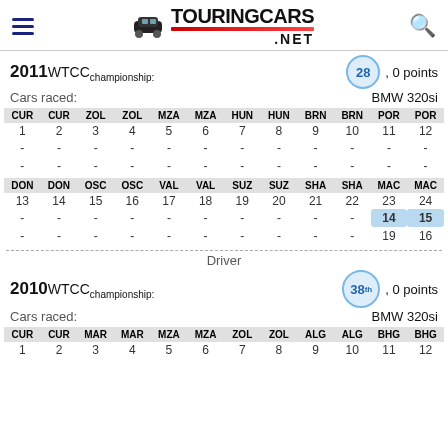TouringCars.NET
2011 WTCC championship: 28th, 0 points
Cars raced: BMW 320si
| CUR | CUR | ZOL | ZOL | MZA | MZA | HUN | HUN | BRN | BRN | POR | POR |
| --- | --- | --- | --- | --- | --- | --- | --- | --- | --- | --- | --- |
| 1 | 2 | 3 | 4 | 5 | 6 | 7 | 8 | 9 | 10 | 11 | 12 |
| - | - | - | - | - | - | - | - | - | - | - | - |
| - | - | - | - | - | - | - | - | - | - | - | - |
| DON | DON | OSC | OSC | VAL | VAL | SUZ | SUZ | SHA | SHA | MAC | MAC |
| --- | --- | --- | --- | --- | --- | --- | --- | --- | --- | --- | --- |
| 13 | 14 | 15 | 16 | 17 | 18 | 19 | 20 | 21 | 22 | 23 | 24 |
| - | - | - | - | - | - | - | - | - | - | 14 | 15 |
| - | - | - | - | - | - | - | - | - | - | 19 | 16 |
Driver
2010 WTCC championship: 38th, 0 points
Cars raced: BMW 320si
| CUR | CUR | MAR | MAR | MZA | MZA | ZOL | ZOL | ALG | ALG | BHG | BHG |
| --- | --- | --- | --- | --- | --- | --- | --- | --- | --- | --- | --- |
| 1 | 2 | 3 | 4 | 5 | 6 | 7 | 8 | 9 | 10 | 11 | 12 |